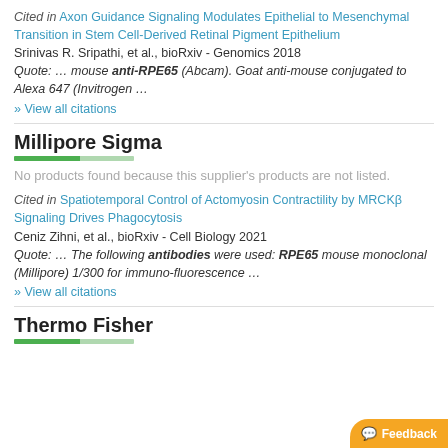Cited in Axon Guidance Signaling Modulates Epithelial to Mesenchymal Transition in Stem Cell-Derived Retinal Pigment Epithelium
Srinivas R. Sripathi, et al., bioRxiv - Genomics 2018
Quote: … mouse anti-RPE65 (Abcam). Goat anti-mouse conjugated to Alexa 647 (Invitrogen …
» View all citations
Millipore Sigma
No products found because this supplier's products are not listed.
Cited in Spatiotemporal Control of Actomyosin Contractility by MRCKβ Signaling Drives Phagocytosis
Ceniz Zihni, et al., bioRxiv - Cell Biology 2021
Quote: … The following antibodies were used: RPE65 mouse monoclonal (Millipore) 1/300 for immuno-fluorescence …
» View all citations
Thermo Fisher